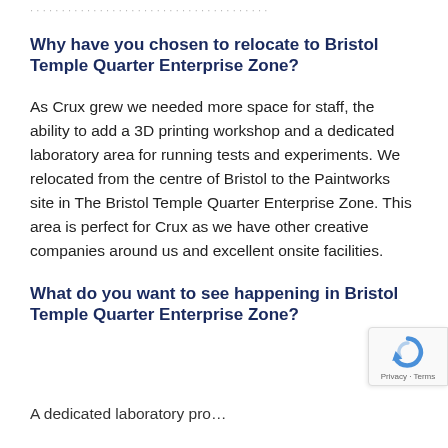… (partial text from top cropped)
Why have you chosen to relocate to Bristol Temple Quarter Enterprise Zone?
As Crux grew we needed more space for staff, the ability to add a 3D printing workshop and a dedicated laboratory area for running tests and experiments. We relocated from the centre of Bristol to the Paintworks site in The Bristol Temple Quarter Enterprise Zone. This area is perfect for Crux as we have other creative companies around us and excellent onsite facilities.
What do you want to see happening in Bristol Temple Quarter Enterprise Zone?
A dedicated…(partial, cropped at bottom)